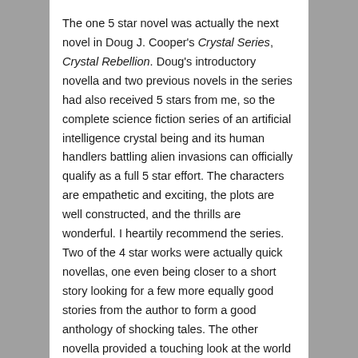The one 5 star novel was actually the next novel in Doug J. Cooper's Crystal Series, Crystal Rebellion. Doug's introductory novella and two previous novels in the series had also received 5 stars from me, so the complete science fiction series of an artificial intelligence crystal being and its human handlers battling alien invasions can officially qualify as a full 5 star effort. The characters are empathetic and exciting, the plots are well constructed, and the thrills are wonderful. I heartily recommend the series.
Two of the 4 star works were actually quick novellas, one even being closer to a short story looking for a few more equally good stories from the author to form a good anthology of shocking tales. The other novella provided a touching look at the world of autism. The other eleven 4 star works are standard novels that delve into a broad range of genres with a few suspense thrillers ranging from drug conspiracies to corporate secret agents, a couple of science fiction adventures from corrupt enterprises within space wars to an utopian genetic enterprise, two